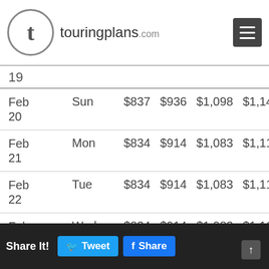touringplans.com
| Date | Day | Col3 | Col4 | Col5 | Col6 | Col7 | Col8 |
| --- | --- | --- | --- | --- | --- | --- | --- |
| Feb 20 | Sun | $837 | $936 | $1,098 | $1,140 | $1,227 | $1,4… |
| Feb 21 | Mon | $834 | $914 | $1,083 | $1,113 | $1,210 | $1,3… |
| Feb 22 | Tue | $834 | $914 | $1,083 | $1,113 | $1,210 | $1,3… |
| Feb 23 | Wed | $834 | $914 | $1,083 | $1,113 | $1,210 | $1,3… |
| Feb 24 | Thu | $837 | $936 | $1,098 | $1,140 | $1,227 | $1,4… |
| Feb 25 | Fri | $855 | $976 | $1,163 | $1,231 | $1,285 | $1,4… |
| Feb 26 | Sat | $855 | $976 | $1,163 | $1,231 | $1,285 | $1,4… |
Share It! Tweet Share